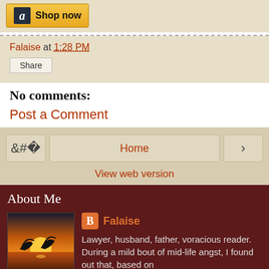[Figure (screenshot): Amazon 'Shop now' button with Amazon logo]
Falaise at 1:28 PM
Share
No comments:
Post a Comment
Home
View web version
About Me
[Figure (photo): Sunset photo with dolphin silhouette jumping over ocean]
Falaise
Lawyer, husband, father, voracious reader. During a mild bout of mid-life angst, I found out that, based on